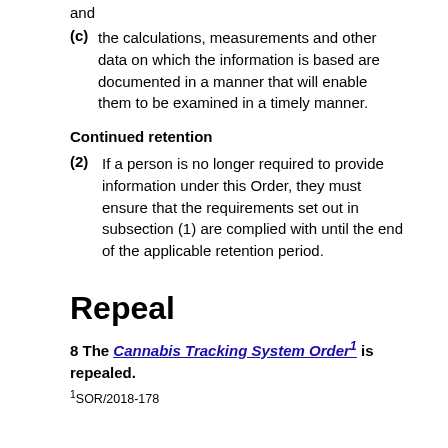and
(c) the calculations, measurements and other data on which the information is based are documented in a manner that will enable them to be examined in a timely manner.
Continued retention
(2) If a person is no longer required to provide information under this Order, they must ensure that the requirements set out in subsection (1) are complied with until the end of the applicable retention period.
Repeal
8 The Cannabis Tracking System Order1 is repealed.
1SOR/2018-178